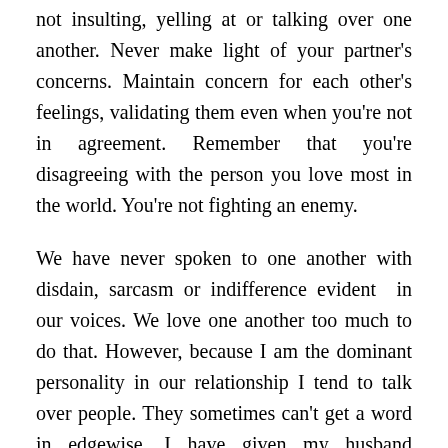not insulting, yelling at or talking over one another. Never make light of your partner's concerns. Maintain concern for each other's feelings, validating them even when you're not in agreement. Remember that you're disagreeing with the person you love most in the world. You're not fighting an enemy.
We have never spoken to one another with disdain, sarcasm or indifference evident in our voices. We love one another too much to do that. However, because I am the dominant personality in our relationship I tend to talk over people. They sometimes can't get a word in edgewise. I have given my husband permission to interrupt me, by whatever means necessary, and enlighten me to the fact that I'm on a full roll. I don't realize I'm doing it. When he calls it to my attention, I apologize and give him a chance to speak. I am then aware that I'm